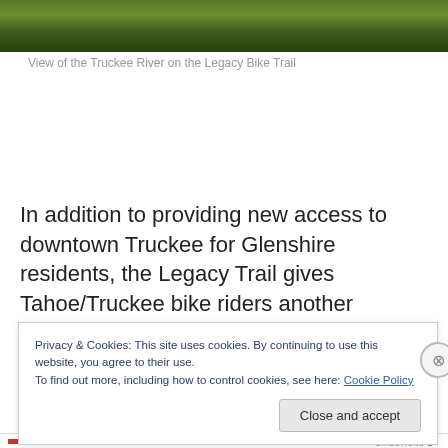[Figure (photo): Partial view of trees and foliage along the Truckee River on the Legacy Bike Trail (top strip of photo visible)]
View of the Truckee River on the Legacy Bike Trail
In addition to providing new access to downtown Truckee for Glenshire residents, the Legacy Trail gives Tahoe/Truckee bike riders another connection and
Privacy & Cookies: This site uses cookies. By continuing to use this website, you agree to their use.
To find out more, including how to control cookies, see here: Cookie Policy
Close and accept